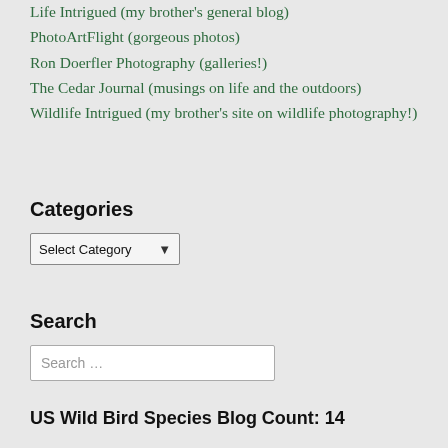Life Intrigued (my brother's general blog)
PhotoArtFlight (gorgeous photos)
Ron Doerfler Photography (galleries!)
The Cedar Journal (musings on life and the outdoors)
Wildlife Intrigued (my brother's site on wildlife photography!)
Categories
Select Category
Search
Search …
US Wild Bird Species Blog Count: 14